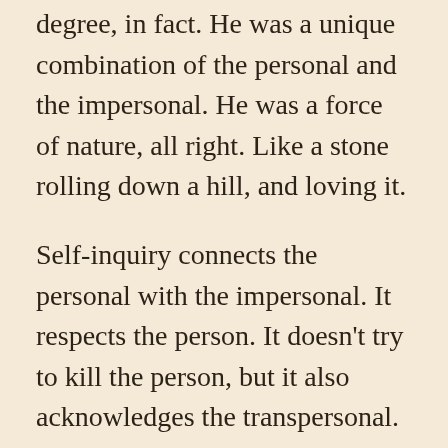degree, in fact. He was a unique combination of the personal and the impersonal. He was a force of nature, all right. Like a stone rolling down a hill, and loving it.
Self-inquiry connects the personal with the impersonal. It respects the person. It doesn’t try to kill the person, but it also acknowledges the transpersonal. It seeks connectedness so that the person flowers within the impersonal and discovers the impersonal within. A life without the